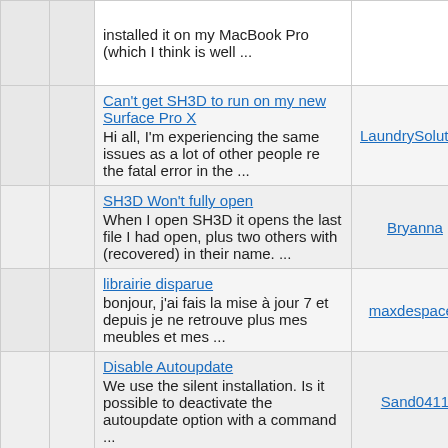|  |  | Topic | Author | Replies |
| --- | --- | --- | --- | --- |
|  |  | installed it on my MacBook Pro (which I think is well ... |  |  |
|  |  | Can't get SH3D to run on my new Surface Pro X
Hi all, I'm experiencing the same issues as a lot of other people re the fatal error in the ... | LaundrySolutions | 4 |
|  |  | SH3D Won't fully open
When I open SH3D it opens the last file I had open, plus two others with (recovered) in their name. ... | Bryanna | 1 |
|  |  | librairie disparue
bonjour, j'ai fais la mise à jour 7 et depuis je ne retrouve plus mes meubles et mes ... | maxdespaces | 1 |
|  |  | Disable Autoupdate
We use the silent installation. Is it possible to deactivate the autoupdate option with a command ... | Sand0411 | 5 |
|  |  | Where 3D models should be placed for SH3D program to see them automatically?
I would like to package extra SH3D models such that they would be found automatically. SH3D ... | yurivict | 2 |